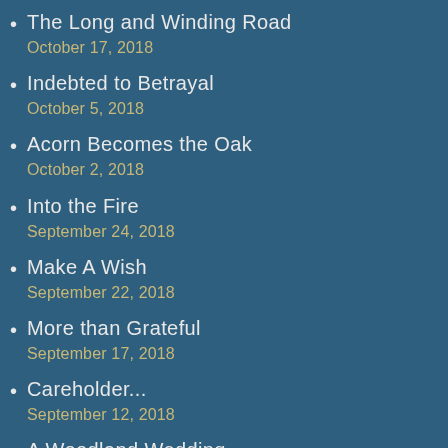The Long and Winding Road
October 17, 2018
Indebted to Betrayal
October 5, 2018
Acorn Becomes the Oak
October 2, 2018
Into the Fire
September 24, 2018
Make A Wish
September 22, 2018
More than Grateful
September 17, 2018
Careholder...
September 12, 2018
A Woodland Wedding
September 11, 2018